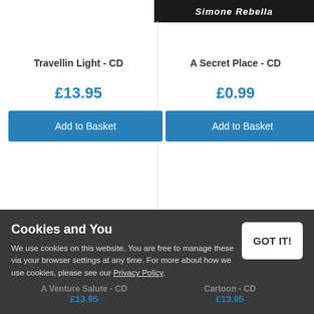[Figure (photo): Partial album cover image for 'Simone Rebella' showing artist photo with name text overlay, dark background]
Travellin Light - CD
£13.95
Add to Basket
A Secret Place - CD
£0.99
Add to Basket
Cookies and You
We use cookies on this website. You are free to manage these via your browser settings at any time. For more about how we use cookies, please see our Privacy Policy.
GOT IT!
A Venture Salute - CD
£13.95
Cartoon - CD
£13.95